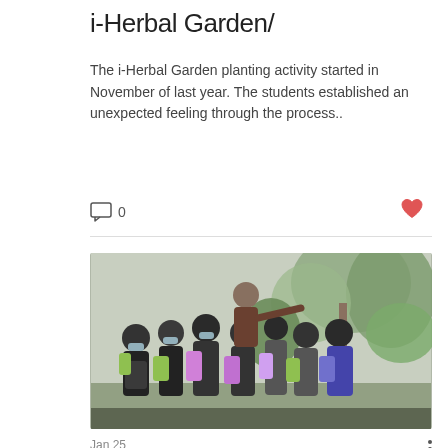i-Herbal Garden/
The i-Herbal Garden planting activity started in November of last year. The students established an unexpected feeling through the process..
0
[Figure (photo): Students wearing backpacks and face masks gathered around an adult instructor who is pointing at green plants inside a greenhouse or garden area.]
Jan 25